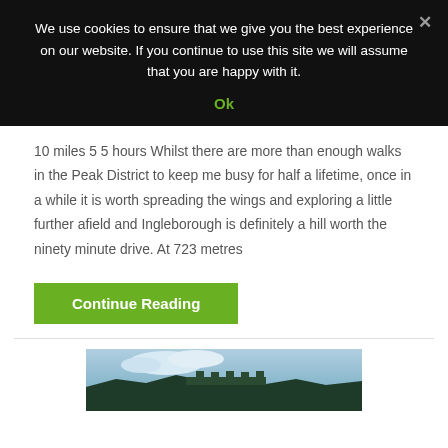We use cookies to ensure that we give you the best experience on our website. If you continue to use this site we will assume that you are happy with it.
Ok
10 miles 5 5 hours Whilst there are more than enough walks in the Peak District to keep me busy for half a lifetime, once in a while it is worth spreading the wings and exploring a little further afield and Ingleborough is definitely a hill worth the ninety minute drive. At 723 metres
Continue Reading
[Figure (photo): Landscape photograph showing a countryside or hilltop view with sky and dark silhouetted terrain]